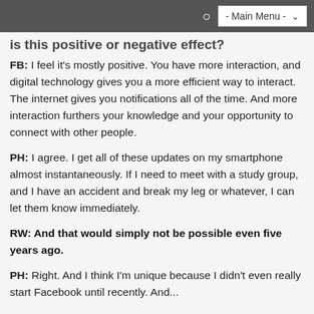- Main Menu -
is this positive or negative effect?
FB: I feel it's mostly positive. You have more interaction, and digital technology gives you a more efficient way to interact. The internet gives you notifications all of the time. And more interaction furthers your knowledge and your opportunity to connect with other people.
PH: I agree. I get all of these updates on my smartphone almost instantaneously. If I need to meet with a study group, and I have an accident and break my leg or whatever, I can let them know immediately.
RW: And that would simply not be possible even five years ago.
PH: Right. And I think I'm unique because I didn't even really start Facebook until recently. And...